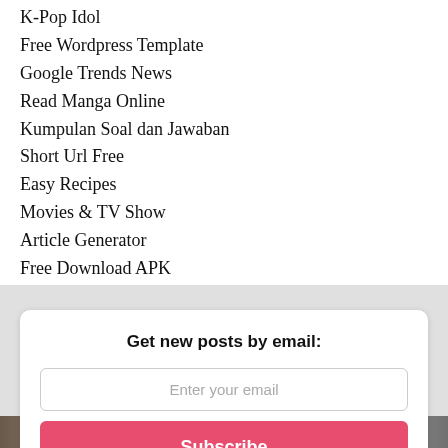K-Pop Idol
Free Wordpress Template
Google Trends News
Read Manga Online
Kumpulan Soal dan Jawaban
Short Url Free
Easy Recipes
Movies & TV Show
Article Generator
Free Download APK
Get new posts by email:
Enter your email
Subscribe